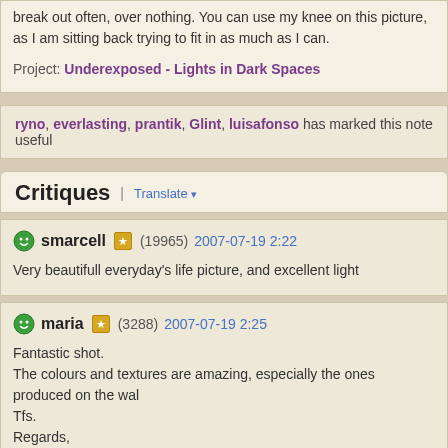break out often, over nothing. You can use my knee on this picture, as I am sitting back trying to fit in as much as I can.
Project: Underexposed - Lights in Dark Spaces
ryno, everlasting, prantik, Glint, luisafonso has marked this note useful
Critiques | Translate
smarcell (19965) 2007-07-19 2:22
Very beautifull everyday's life picture, and excellent light
maria (3288) 2007-07-19 2:25
Fantastic shot.
The colours and textures are amazing, especially the ones produced on the wall.
Tfs.
Regards,
Maria